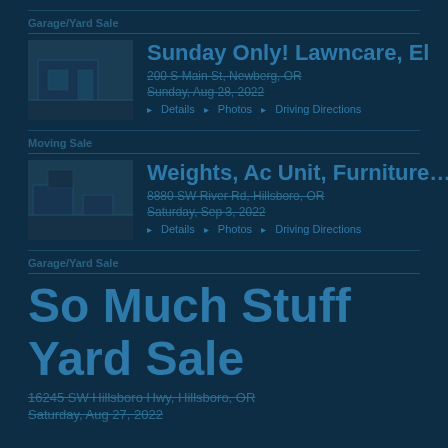Garage/Yard Sale
Sunday Only! Lawncare, El…
200 S Main St, Newberg, OR
Sunday, Aug 28, 2022
▸ Details  ▸ Photos  ▸ Driving Directions
Moving Sale
Weights, Ac Unit, Furniture…
8880 SW River Rd, Hillsboro, OR
Saturday, Sep 3, 2022
▸ Details  ▸ Photos  ▸ Driving Directions
Garage/Yard Sale
So Much Stuff Yard Sale
16245 SW Hillsboro Hwy, Hillsboro, OR
Saturday, Aug 27, 2022